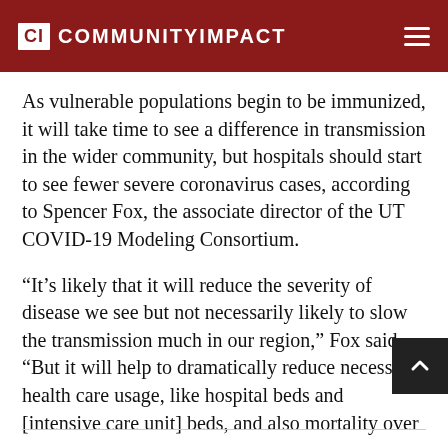CI COMMUNITYIMPACT
As vulnerable populations begin to be immunized, it will take time to see a difference in transmission in the wider community, but hospitals should start to see fewer severe coronavirus cases, according to Spencer Fox, the associate director of the UT COVID-19 Modeling Consortium.
“It’s likely that it will reduce the severity of disease we see but not necessarily likely to slow the transmission much in our region,” Fox said. “But it will help to dramatically reduce necessary health care usage, like hospital beds and [intensive care unit] beds, and also mortality over